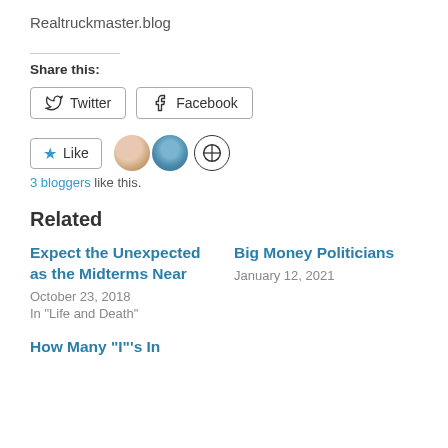Realtruckmaster.blog
Share this:
Twitter  Facebook
Like  3 bloggers like this.
Related
Expect the Unexpected as the Midterms Near
October 23, 2018
In "Life and Death"
Big Money Politicians
January 12, 2021
How Many “I”’s In